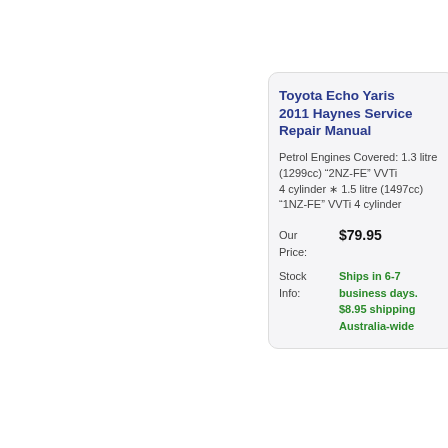Toyota Echo Yaris 1999 2011 Haynes Service Repair Manual
Petrol Engines Covered: 1.3 litre (1299cc) "2NZ-FE" VVTi 4 cylinder * 1.5 litre (1497cc) "1NZ-FE" VVTi 4 cylinder
Our Price: $79.95
Stock Info: Ships in 6-7 business days. $8.95 shipping Australia-wide
Toyota RAV4 Petrol Diesel 1994 2006 Service Repair M...